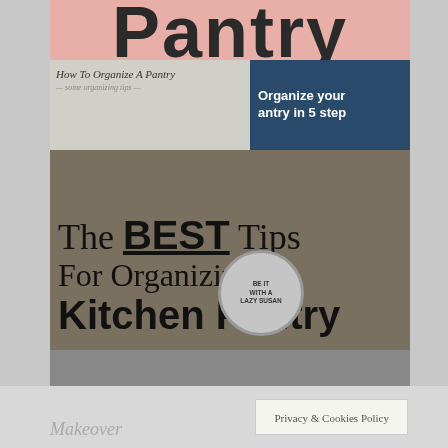[Figure (infographic): Collage of kitchen pantry organization images with overlaid text. Top strip shows partial 'Pantry' text in large bold font on pink/salmon background. Middle section shows organized pantry photos with a Lazy Susan circular overlay. Large overlaid text reads 'The BEST Tips For Organizing A Kitchen Pantry'. Bottom row shows three panels: left with 'QUICK & EASY Pantry' text on light background, middle with 'RENOVATED ORGANIZED Pantry' sign, right with dark pantry shelf image labeled with Baking Extras, Serving-ware, Snacks, Pasta, Cereal. 'Dogs Don't Eat Pizza' text visible.]
Privacy & Cookies Policy